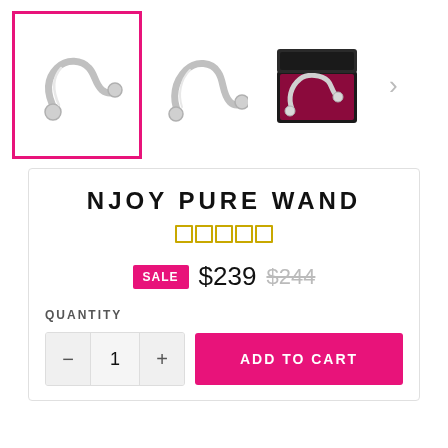[Figure (photo): Three product images of the Njoy Pure Wand: first (selected/highlighted with pink border) shows the curved silver wand on white background; second shows a front view of the wand; third shows the wand in a black gift box with red satin lining. A right navigation arrow is visible.]
NJOY PURE WAND
[Figure (other): Star rating display showing 4 empty/outlined gold star boxes]
SALE $239 $244
QUANTITY
1
ADD TO CART